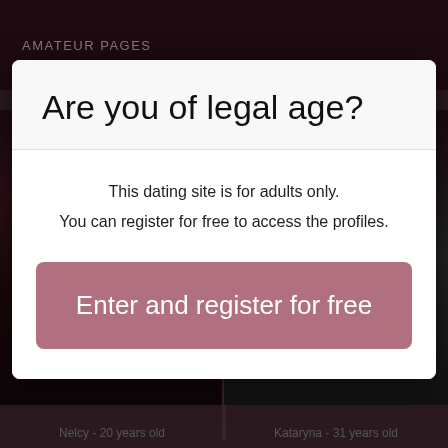AMATEUR PAGES
Are you of legal age?
This dating site is for adults only.
You can register for free to access the profiles.
Enter and register for free
Nelcy - 20 years old
Kataryna - 31 years old